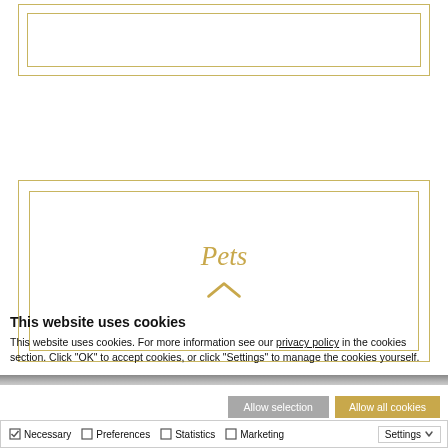[Figure (other): Gold-bordered rectangular UI element at top of page, outer and inner gold border frames with white fill interior]
[Figure (other): Gold-bordered rectangular card labeled 'Pets' in italic gold serif font with an upward-pointing chevron arrow below the text]
This website uses cookies
This website uses cookies. For more information see our privacy policy in the cookies section. Click "OK" to accept cookies, or click "Settings" to manage the cookies yourself.
Allow selection
Allow all cookies
Necessary  Preferences  Statistics  Marketing  Settings